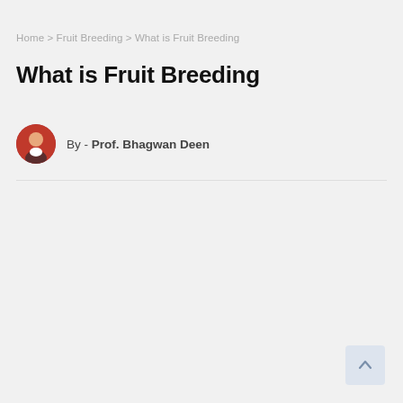Home > Fruit Breeding > What is Fruit Breeding
What is Fruit Breeding
By - Prof. Bhagwan Deen